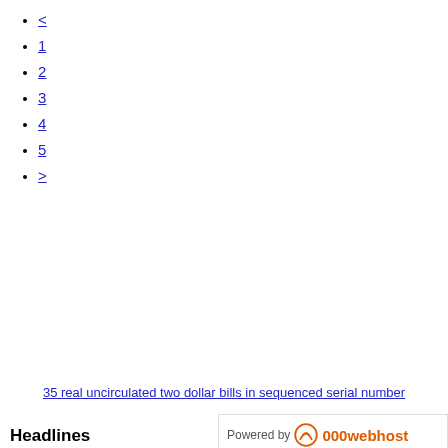<
1
2
3
4
5
>
35 real uncirculated two dollar bills in sequenced serial number
Headlines